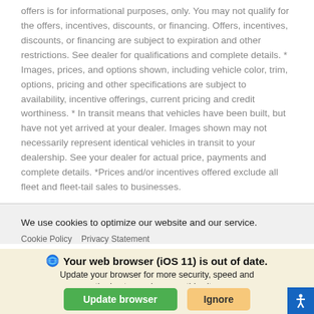offers is for informational purposes, only. You may not qualify for the offers, incentives, discounts, or financing. Offers, incentives, discounts, or financing are subject to expiration and other restrictions. See dealer for qualifications and complete details. * Images, prices, and options shown, including vehicle color, trim, options, pricing and other specifications are subject to availability, incentive offerings, current pricing and credit worthiness. * In transit means that vehicles have been built, but have not yet arrived at your dealer. Images shown may not necessarily represent identical vehicles in transit to your dealership. See your dealer for actual price, payments and complete details. *Prices and/or incentives offered exclude all fleet and fleet-tail sales to businesses.
We use cookies to optimize our website and our service.
Cookie Policy   Privacy Statement
Your web browser (iOS 11) is out of date. Update your browser for more security, speed and the best experience on this site.
Update browser
Ignore